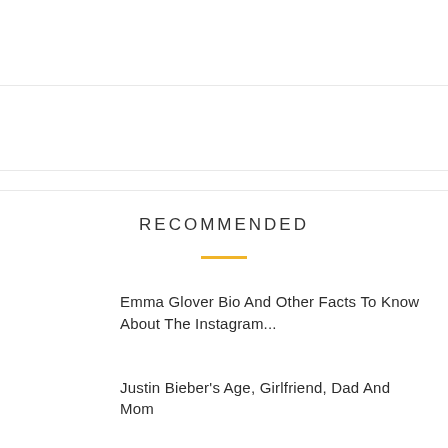RECOMMENDED
Emma Glover Bio And Other Facts To Know About The Instagram...
Justin Bieber's Age, Girlfriend, Dad And Mom